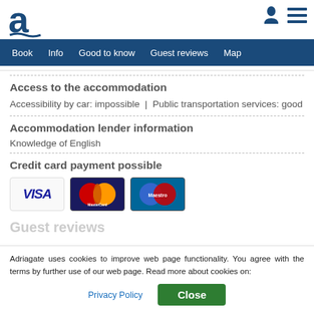[Figure (logo): Adriagate logo with stylized 'a' letter in dark blue]
Book  Info  Good to know  Guest reviews  Map
Access to the accommodation
Accessibility by car: impossible  |  Public transportation services: good
Accommodation lender information
Knowledge of English
Credit card payment possible
[Figure (logo): Visa, MasterCard, and Maestro credit card logos]
Guest reviews
Adriagate uses cookies to improve web page functionality. You agree with the terms by further use of our web page. Read more about cookies on:
Privacy Policy   Close